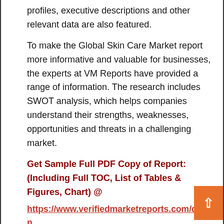profiles, executive descriptions and other relevant data are also featured.
To make the Global Skin Care Market report more informative and valuable for businesses, the experts at VM Reports have provided a range of information. The research includes SWOT analysis, which helps companies understand their strengths, weaknesses, opportunities and threats in a challenging market.
Get Sample Full PDF Copy of Report: (Including Full TOC, List of Tables & Figures, Chart) @ https://www.verifiedmarketreports.com/down